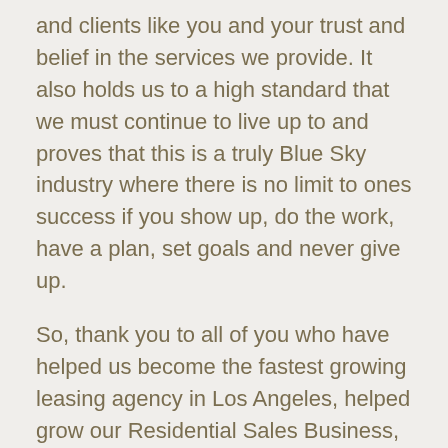and clients like you and your trust and belief in the services we provide. It also holds us to a high standard that we must continue to live up to and proves that this is a truly Blue Sky industry where there is no limit to ones success if you show up, do the work, have a plan, set goals and never give up.

So, thank you to all of you who have helped us become the fastest growing leasing agency in Los Angeles, helped grow our Residential Sales Business, Helped grow our investment advisory and brokerage division and ensured that we continue to operate at the top of our game, constantly working hard to provide better value and services to our Real Estate Clients.